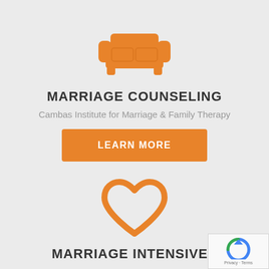[Figure (illustration): Orange sofa/couch icon centered at top]
MARRIAGE COUNSELING
Cambas Institute for Marriage & Family Therapy
LEARN MORE
[Figure (illustration): Orange heart outline icon centered]
MARRIAGE INTENSIVES